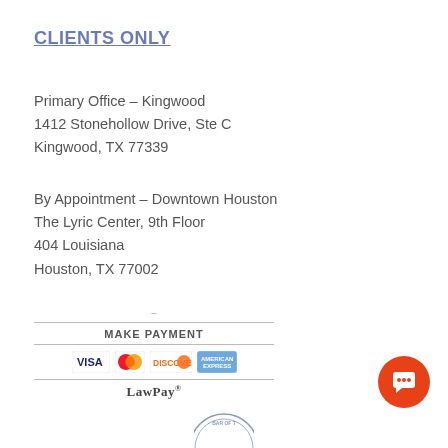CLIENTS ONLY
Primary Office – Kingwood
1412 Stonehollow Drive, Ste C
Kingwood, TX 77339
By Appointment – Downtown Houston
The Lyric Center, 9th Floor
404 Louisiana
Houston, TX 77002
[Figure (logo): MAKE PAYMENT banner with credit card logos (Visa, Mastercard, Discover, American Express) and LawPay branding]
[Figure (logo): Orange circular chat button with speech bubble icon, bottom right corner]
[Figure (logo): Partial bar association seal, bottom center]